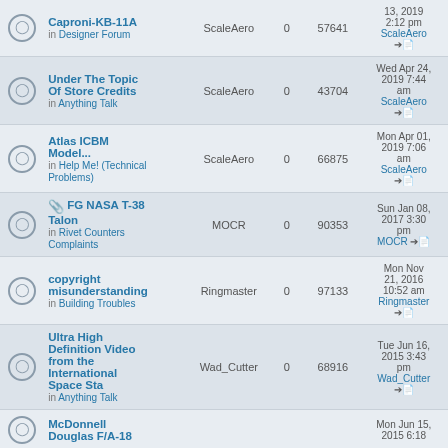|  | Topic | Author | Replies | Views | Last Post |
| --- | --- | --- | --- | --- | --- |
|  | Caproni-KB-11A
in Designer Forum | ScaleAero | 0 | 57641 | 13, 2019 2:12 pm
ScaleAero |
|  | Under The Topic Of Store Credits
in Anything Talk | ScaleAero | 0 | 43704 | Wed Apr 24, 2019 7:44 am
ScaleAero |
|  | Atlas ICBM Model...
in Help Me! (Technical Problems) | ScaleAero | 0 | 66875 | Mon Apr 01, 2019 7:06 am
ScaleAero |
|  | FG NASA T-38 Talon
in Rivet Counters Complaints | MOCR | 0 | 90353 | Sun Jan 08, 2017 3:30 pm
MOCR |
|  | copyright misunderstanding
in Building Troubles | Ringmaster | 0 | 97133 | Mon Nov 21, 2016 10:52 am
Ringmaster |
|  | Ultra High Definition Video from the International Space Sta
in Anything Talk | Wad_Cutter | 0 | 68916 | Tue Jun 16, 2015 3:43 pm
Wad_Cutter |
|  | McDonnell Douglas F/A-18 | ? | 0 | ? | Mon Jun 15, 2015 6:18 |